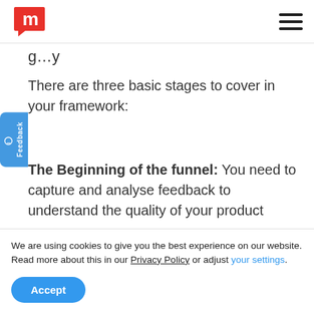m [logo] [hamburger menu]
g...y (partial, cropped)
There are three basic stages to cover in your framework:
The Beginning of the funnel: You need to capture and analyse feedback to understand the quality of your product
We are using cookies to give you the best experience on our website.
Read more about this in our Privacy Policy or adjust your settings.
Accept